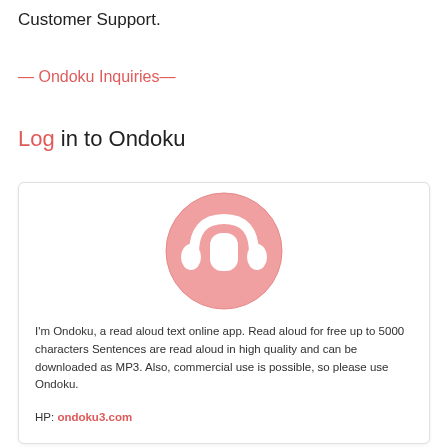Customer Support.
— Ondoku Inquiries—
Log in to Ondoku
[Figure (logo): Pink circle with white headphones icon — the Ondoku app logo]
I'm Ondoku, a read aloud text online app. Read aloud for free up to 5000 characters Sentences are read aloud in high quality and can be downloaded as MP3. Also, commercial use is possible, so please use Ondoku.
HP: ondoku3.com